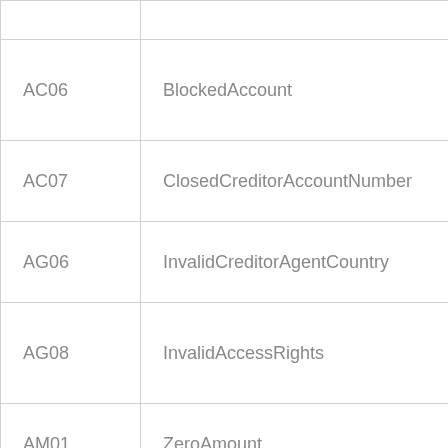| Code | Name |
| --- | --- |
| AC06 | BlockedAccount |
| AC07 | ClosedCreditorAccountNumber |
| AG06 | InvalidCreditorAgentCountry |
| AG08 | InvalidAccessRights |
| AM01 | ZeroAmount |
| AM02 | NotAllowedCurrency |